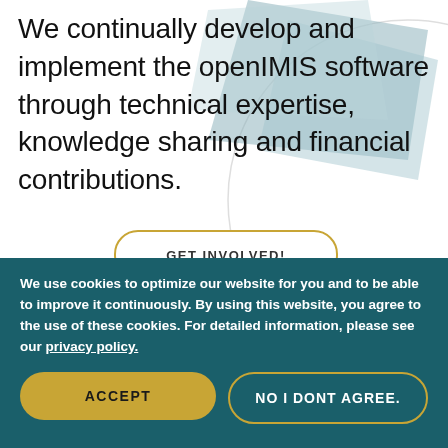[Figure (illustration): Decorative geometric overlapping polygon shapes in muted teal/blue-grey, positioned in the upper right background area]
We continually develop and implement the openIMIS software through technical expertise, knowledge sharing and financial contributions.
GET INVOLVED!
We use cookies to optimize our website for you and to be able to improve it continuously. By using this website, you agree to the use of these cookies. For detailed information, please see our privacy policy.
ACCEPT
NO I DONT AGREE.